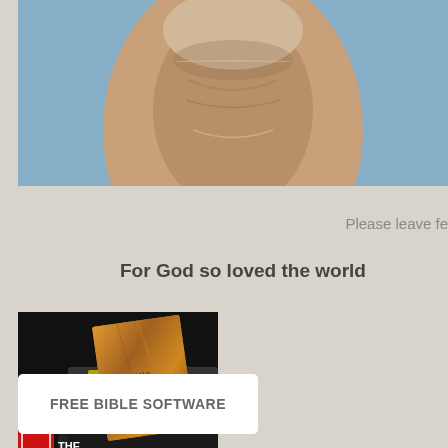[Figure (photo): Cropped photo showing the lower face/neck of an elderly man wearing a light blue shirt and a chain necklace, visible from chin to chest area. Photo is cut off at top and sides.]
Please leave fe
For God so loved the world
[Figure (photo): Photo of The Message: The Christ pocket New Testament book tucked into a black leather bag/purse, with The Pocket Testament League branding including a red label on the left side of the image.]
FREE BIBLE SOFTWARE